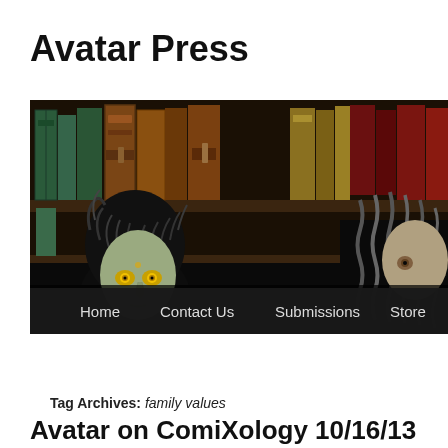Avatar Press
[Figure (illustration): Comic book style banner illustration showing two figures with curly/braided hair in front of a bookshelf filled with old books. A navigation bar at the bottom shows: Home, Contact Us, Submissions, Store.]
Tag Archives: family values
Avatar on ComiXology 10/16/13